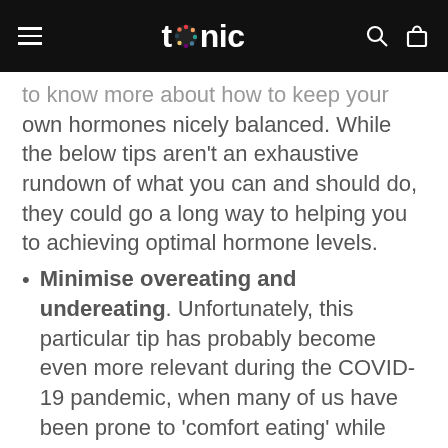tonic
to know more about how to keep your own hormones nicely balanced. While the below tips aren't an exhaustive rundown of what you can and should do, they could go a long way to helping you to achieving optimal hormone levels.
Minimise overeating and undereating. Unfortunately, this particular tip has probably become even more relevant during the COVID-19 pandemic, when many of us have been prone to 'comfort eating' while stuck at home. The hormonal shifts that can be caused by eating too much or too little are